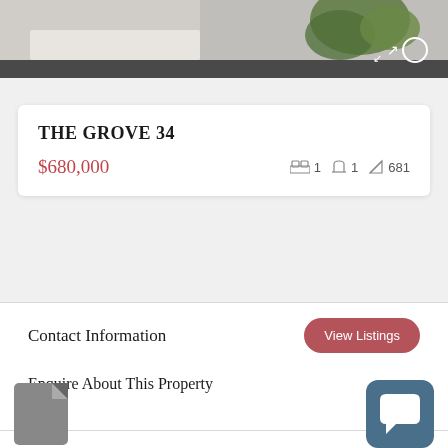[Figure (photo): Interior room photo with plant and desk, partially visible at top of page]
THE GROVE 34
$680,000  🛏 1  🚿 1  📐 681
Contact Information
View Listings
Enquire About This Property
Name